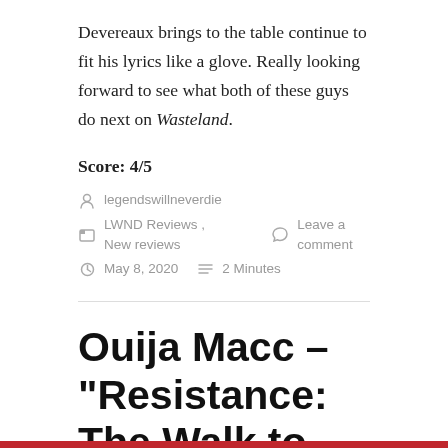Devereaux brings to the table continue to fit his lyrics like a glove. Really looking forward to see what both of these guys do next on Wasteland.
Score: 4/5
legendswillneverdie
LWND Reviews , New reviews   Leave a comment
May 8, 2020   2 Minutes
Ouija Macc – "Resistance: The Walk to Wasteland" review